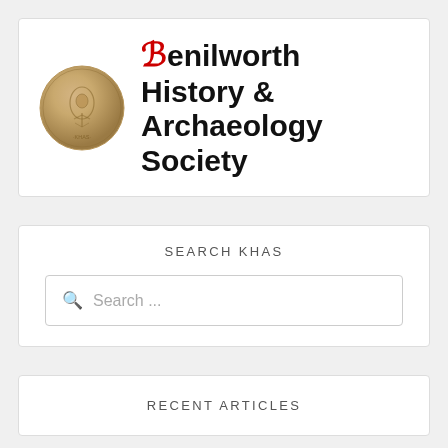[Figure (logo): Kenilworth History & Archaeology Society logo with a bronze coin seal on the left and bold text with a decorative red K on the right]
SEARCH KHAS
Search ...
RECENT ARTICLES